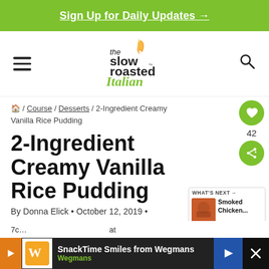Sign Up for Daily Updates →
[Figure (logo): The Slow Roasted Italian logo with flame graphic]
🏠 / Course / Desserts / 2-Ingredient Creamy Vanilla Rice Pudding
2-Ingredient Creamy Vanilla Rice Pudding
By Donna Elick • October 12, 2019 •
[Figure (photo): What's Next thumbnail: Smoked Chicken...]
[Figure (other): Advertisement: SnackTime Smiles from Wegmans]